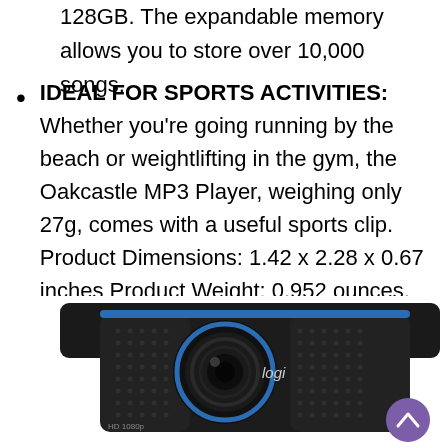128GB. The expandable memory allows you to store over 10,000 songs.
IDEAL FOR SPORTS ACTIVITIES: Whether you're going running by the beach or weightlifting in the gym, the Oakcastle MP3 Player, weighing only 27g, comes with a useful sports clip. Product Dimensions: 1.42 x 2.28 x 0.67 inches Product Weight: 0.952 ounces.
[Figure (photo): Logitech HD 1080p webcam (logi branded) shown from a front-angle view, black with blue accent ring around lens, on white background. A purple circular scroll-to-top button is visible in the bottom right corner.]